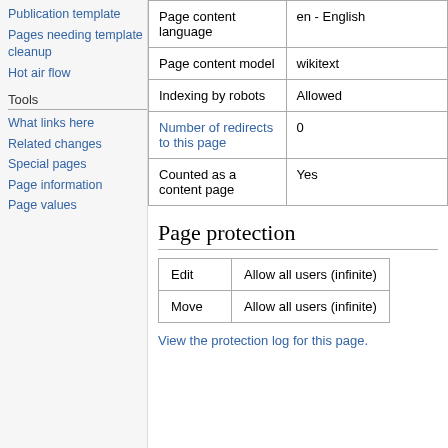Publication template
Pages needing template cleanup
Hot air flow
Tools
What links here
Related changes
Special pages
Page information
Page values
|  |  |
| --- | --- |
| Page content language | en - English |
| Page content model | wikitext |
| Indexing by robots | Allowed |
| Number of redirects to this page | 0 |
| Counted as a content page | Yes |
Page protection
| Edit | Move |
| --- | --- |
| Edit | Allow all users (infinite) |
| Move | Allow all users (infinite) |
View the protection log for this page.